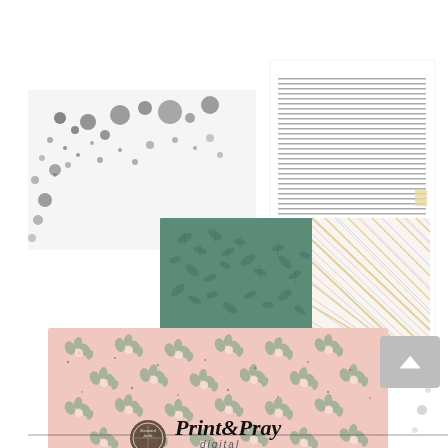[Figure (illustration): Product preview image showing decorative digital scrapbooking papers and embellishments. In the background: a white sheet with dark gray watercolor splash/dot pattern. Behind center: a white sheet with small typed text (scripture/journaling text). Center left: green botanical/leaf pattern paper. Center right: plaid pattern paper in gold, pink, blue on white. Front large: pink floral pattern paper with small scattered flowers and dots. Bottom right: gray square with white up-arrow icon. Bottom right corner: 'illustrated faith' logo and 'Print & Pray digital' branding in bold handwritten/brush font.]